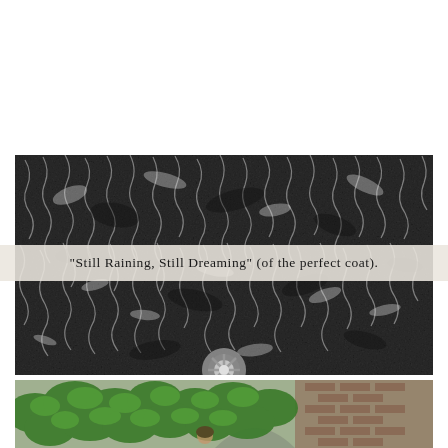[Figure (photo): Close-up photo of a textured dark grey curly fur coat, showing the fluffy, wavy texture in black and grey tones. In the lower portion, a partial view of a silver/chrome wheel or circular metallic object is visible.]
“Still Raining, Still Dreaming” (of the perfect coat).
[Figure (photo): Photo showing a person partially visible behind or among lush green leafy plants/bushes, with a brick building visible in the background.]